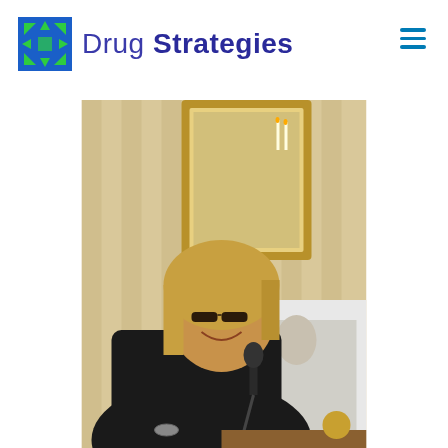Drug Strategies
[Figure (logo): Drug Strategies logo with green/blue cross-arrow icon and blue text]
[Figure (photo): Woman with blonde bob hair and glasses, wearing black blazer, speaking at a podium with microphone in an ornate room with gold-framed mirror and white marble fireplace]